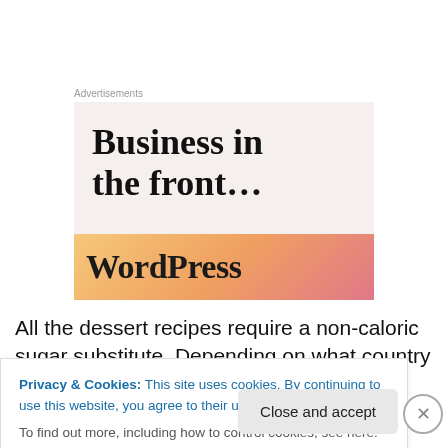Advertisements
[Figure (screenshot): WordPress advertisement banner showing 'Business in the front...' headline on beige background with WordPress logo on orange-pink gradient strip]
All the dessert recipes require a non-caloric sugar substitute. Depending on what country you're in, there are
Privacy & Cookies: This site uses cookies. By continuing to use this website, you agree to their use.
To find out more, including how to control cookies, see here: Cookie Policy
Close and accept